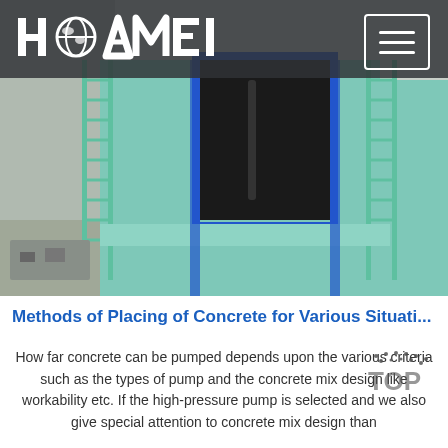HAOMEI
[Figure (photo): Industrial building structure with green metal scaffolding, ladders, and blue-framed large opening/window, viewed from below at an industrial facility.]
Methods of Placing of Concrete for Various Situati...
How far concrete can be pumped depends upon the various criteria such as the types of pump and the concrete mix design like workability etc. If the high-pressure pump is selected and we also give special attention to concrete mix design than